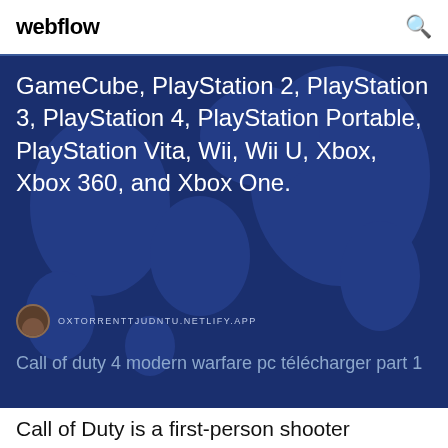webflow
GameCube, PlayStation 2, PlayStation 3, PlayStation 4, PlayStation Portable, PlayStation Vita, Wii, Wii U, Xbox, Xbox 360, and Xbox One.
OXTORRENTTJUDNTU.NETLIFY.APP
Call of duty 4 modern warfare pc télécharger part 1
Call of Duty is a first-person shooter